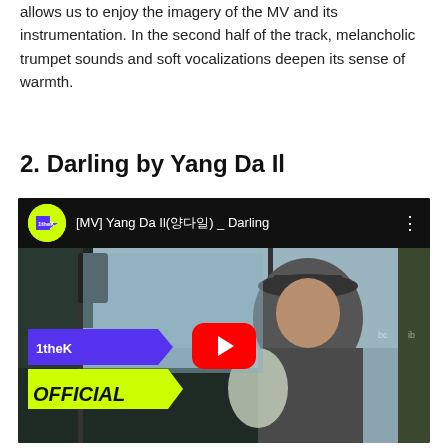With a monochrome landscape of snow and ice, Winter allows us to enjoy the imagery of the MV and its instrumentation. In the second half of the track, melancholic trumpet sounds and soft vocalizations deepen its sense of warmth.
2. Darling by Yang Da Il
[Figure (screenshot): YouTube video embed showing '[MV] Yang Da Il(양다일) _ Darling' with 1theK channel logo. Thumbnail shows an elderly man in a hat holding flowers on a bus, with the YouTube play button and 1theK OFFICIAL branding overlay.]